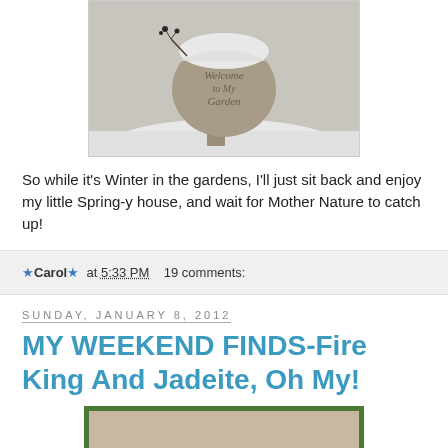[Figure (photo): A stone garden ornament or birdbath shaped like a globe on a pedestal, covered in snow, with text engraved reading 'Welcome to My Garden'. Wintry outdoor scene.]
So while it's Winter in the gardens, I'll just sit back and enjoy my little Spring-y house, and wait for Mother Nature to catch up!
★Carol★  at  5:33 PM     19 comments:
Sunday, January 8, 2012
MY WEEKEND FINDS-Fire King And Jadeite, Oh My!
[Figure (photo): Partial view of a photo with green border, showing the top portion of an image, content partially cut off at bottom of page.]